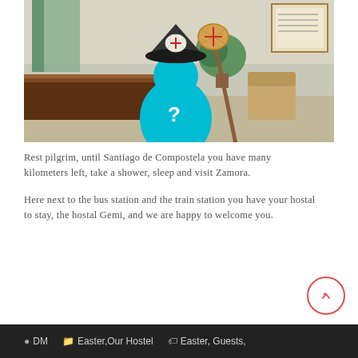[Figure (photo): Photo of a hostal reception/lobby area overlaid with a cartoon pilgrim figure (blue body, black hat with scallop shell emblem, holding a walking staff with a scallop shell, and a question mark on the body). The background shows a wooden reception desk, a plant, chairs, and a notice board.]
Rest pilgrim, until Santiago de Compostela you have many kilometers left, take a shower, sleep and visit Zamora.
Here next to the bus station and the train station you have your hostal to stay, the hostal Gemi, and we are happy to welcome you.
DM   Easter,Our Hostel   Easter, Guests,